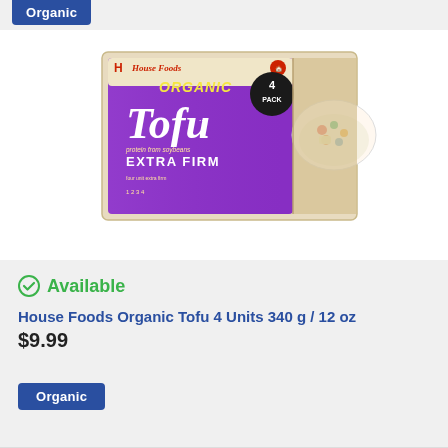Organic
[Figure (photo): House Foods Organic Tofu 4 Pack Extra Firm product box with purple and beige packaging, showing tofu and food imagery]
Available
House Foods Organic Tofu 4 Units 340 g / 12 oz
$9.99
Organic